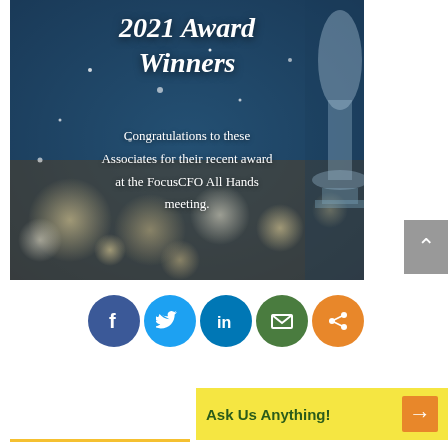[Figure (photo): Dark blue bokeh/glitter banner image with a silver trophy visible on the right side. Contains title text '2021 Award Winners' and subtitle text about FocusCFO All Hands meeting.]
2021 Award Winners
Congratulations to these Associates for their recent award at the FocusCFO All Hands meeting.
[Figure (infographic): Row of social media sharing icons: Facebook (blue), Twitter (light blue), LinkedIn (dark blue), Email (green), Share (orange)]
Ask Us Anything!